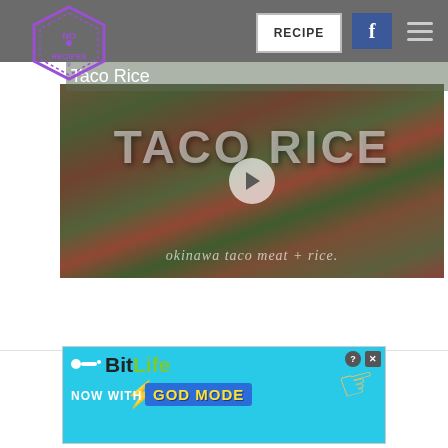[Figure (screenshot): Website header navigation bar with 'No Recipes' logo (hexagon shape, purple), RECIPE button, Facebook button, and hamburger menu on dark grey background]
Taco Rice
[Figure (photo): Video thumbnail showing taco rice dish (Okinawa taco meat + rice) with play button overlay. Text overlay reads 'TACO RICE' and subtitle 'okinawa taco meat + rice.']
[Figure (screenshot): BitLife advertisement banner with cyan background showing 'BitLife' logo, 'NOW WITH GOD MODE' text, lightning bolt, pointing hand graphic, help and close buttons]